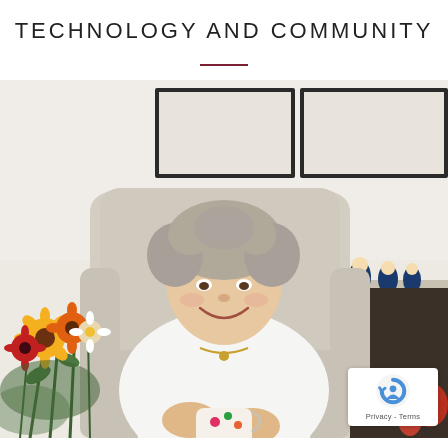TECHNOLOGY AND COMMUNITY
[Figure (photo): Elderly woman with curly grey hair sitting in a beige wingback armchair, smiling and holding a floral teacup and saucer. She is wearing a white cardigan over a floral dress. To her left is a bouquet of colorful flowers (orange, yellow, red, white). Behind her on a shelf are decorative nesting dolls. Two framed pictures hang on the white wall behind her. A reCAPTCHA Privacy - Terms badge is visible in the bottom-right corner of the photo.]